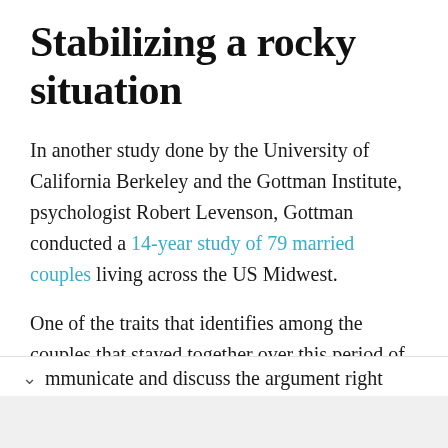Stabilizing a rocky situation
In another study done by the University of California Berkeley and the Gottman Institute, psychologist Robert Levenson, Gottman conducted a 14-year study of 79 married couples living across the US Midwest.
One of the traits that identifies among the couples that stayed together over this period of time was that when they got into an argument, for whatever reason, they made sure to openly communicate and discuss the argument right